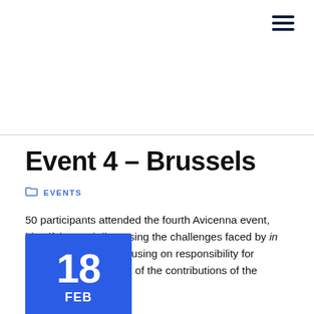[Figure (other): Hamburger menu icon (three horizontal bars) in top-right corner]
Event 4 – Brussels
EVENTS
50 participants attended the fourth Avicenna event, identifying and discussing the challenges faced by in silico clinical trials, focusing on responsibility for authorship and editing of the contributions of the Roadmap.
[Figure (other): Blue calendar badge showing date 18 FEB]